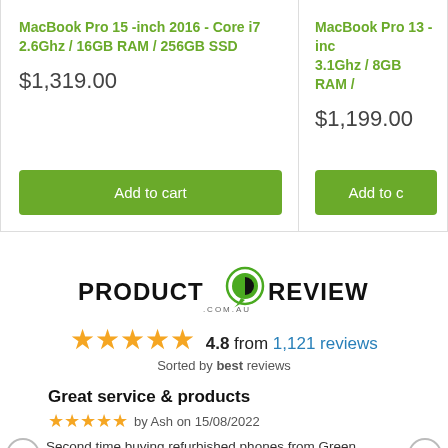MacBook Pro 15 -inch 2016 - Core i7 2.6Ghz / 16GB RAM / 256GB SSD
$1,319.00
Add to cart
MacBook Pro 13 -inch 3.1Ghz / 8GB RAM /
$1,199.00
Add to
[Figure (logo): Product Review .com.au logo with green chat bubble icon]
4.8 from 1,121 reviews
Sorted by best reviews
Great service & products
by Ash on 15/08/2022
Second time buying refurbished phones from Green